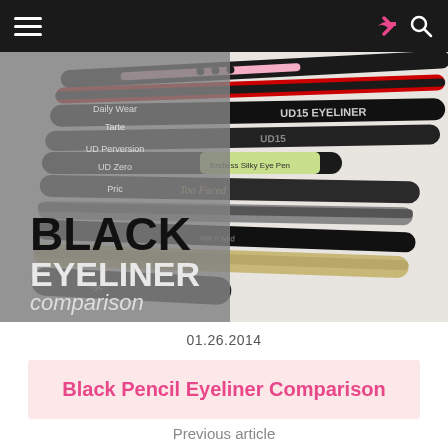☰  ➤  🔍
[Figure (photo): A collection of black pencil eyeliners from various brands piled together, with a gray overlay on the left side showing the text 'BLACK EYELINER comparison' and partially visible menu items above it.]
01.26.2014
Black Pencil Eyeliner Comparison
Previous article